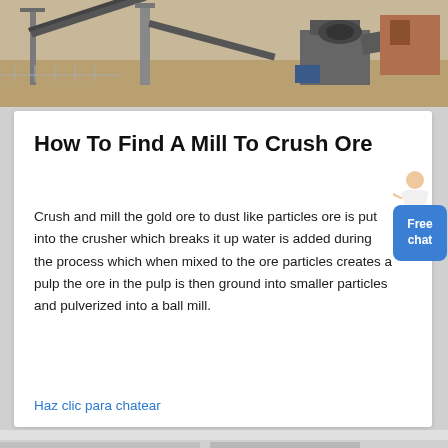[Figure (photo): Industrial mining/crushing equipment site with conveyors, machinery, and sandy ground]
How To Find A Mill To Crush Ore
Crush and mill the gold ore to dust like particles ore is put into the crusher which breaks it up water is added during the process which when mixed to the ore particles creates a pulp the ore in the pulp is then ground into smaller particles and pulverized into a ball mill.
Haz clic para chatear
[Figure (photo): Industrial equipment photos at the bottom of the page]